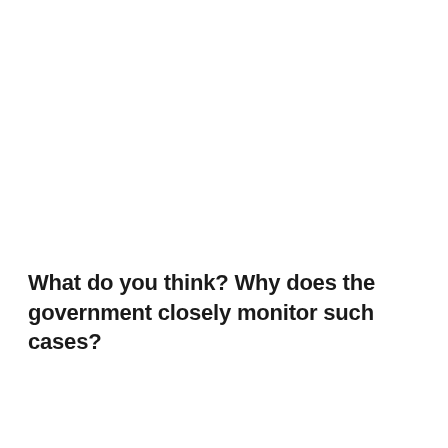What do you think? Why does the government closely monitor such cases?